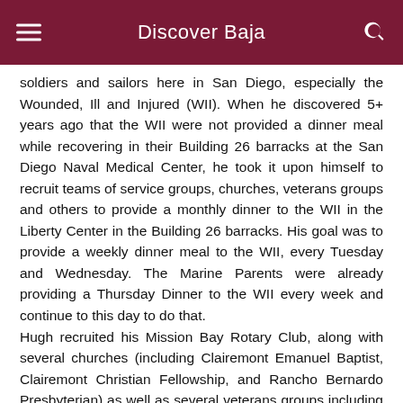Discover Baja
soldiers and sailors here in San Diego, especially the Wounded, Ill and Injured (WII). When he discovered 5+ years ago that the WII were not provided a dinner meal while recovering in their Building 26 barracks at the San Diego Naval Medical Center, he took it upon himself to recruit teams of service groups, churches, veterans groups and others to provide a monthly dinner to the WII in the Liberty Center in the Building 26 barracks. His goal was to provide a weekly dinner meal to the WII, every Tuesday and Wednesday. The Marine Parents were already providing a Thursday Dinner to the WII every week and continue to this day to do that.
Hugh recruited his Mission Bay Rotary Club, along with several churches (including Clairemont Emanuel Baptist, Clairemont Christian Fellowship, and Rancho Bernardo Presbyterian) as well as several veterans groups including the Navy Wives at Coronado. Hugh came very close to achieving his goal of providing Tuesday and Wednesday meals for the WII.
In addition to recruiting volunteer groups, Hugh was